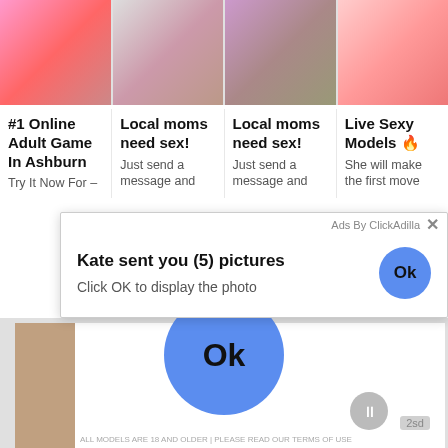[Figure (screenshot): Screenshot of adult ad network showing four image thumbnails in a grid, with popup dialog overlay saying 'Kate sent you (5) pictures / Click OK to display the photo' with an Ok button, and a large blue Ok button below. Ads by ClickAdilla label visible.]
#1 Online Adult Game In Ashburn
Try It Now For –
Local moms need sex!
Just send a message and
Local moms need sex!
Just send a message and
Live Sexy Models 🔥
She will make the first move
Ads By ClickAdilla
Kate sent you (5) pictures
Click OK to display the photo
Ok
Ok
2sd